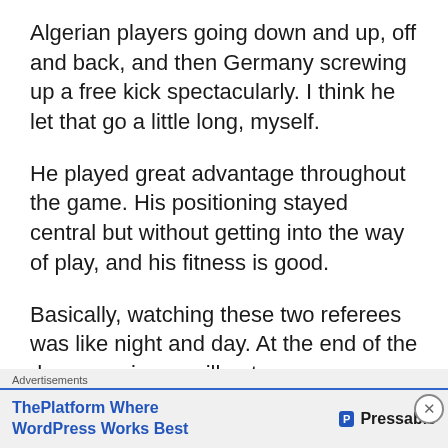Algerian players going down and up, off and back, and then Germany screwing up a free kick spectacularly. I think he let that go a little long, myself.
He played great advantage throughout the game. His positioning stayed central but without getting into the way of play, and his fitness is good.
Basically, watching these two referees was like night and day. At the end of the day, experience will out.
Advertisements
[Figure (other): Advertisement banner area with dark block and grey lines]
Advertisements
[Figure (other): ThePlatform Where WordPress Works Best - Pressable advertisement banner]